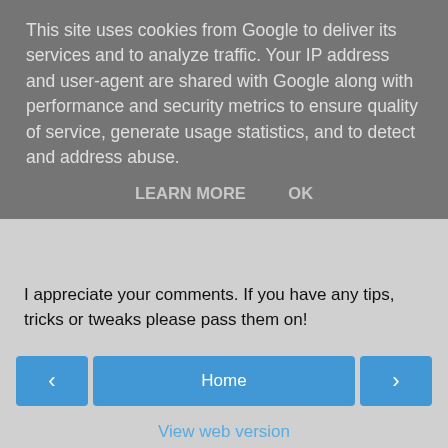This site uses cookies from Google to deliver its services and to analyze traffic. Your IP address and user-agent are shared with Google along with performance and security metrics to ensure quality of service, generate usage statistics, and to detect and address abuse.
LEARN MORE   OK
I appreciate your comments. If you have any tips, tricks or tweaks please pass them on!
[Figure (screenshot): Navigation buttons: left arrow button, Home button, right arrow button]
View web version
Powered by Blogger.
[Figure (screenshot): Bottom bar with chevron/down arrow]
[Figure (screenshot): Advertisement banner: photo of yellow flowers on left, text about Roundup/HDX/Ace brand weed killer settlement on right. 'Purchasers of certain Roundup®, HDX®, or Ace® brand weed killer products may be eligible for a cash payment from a class action settlement. Visit www.WeedKillerAdSettlement.com to learn more.']